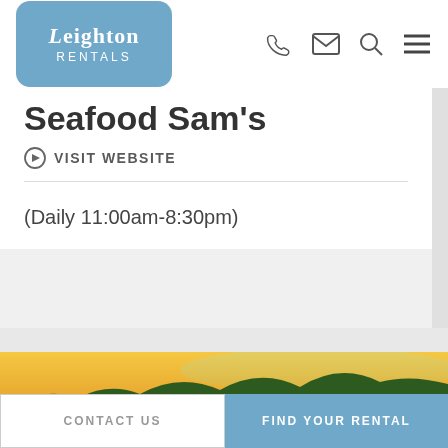Leighton Rentals
Seafood Sam's
VISIT WEBSITE
(Daily 11:00am-8:30pm)
[Figure (photo): Landscape photo of forested hills with golden sunset light through mist/clouds]
CONTACT US   FIND YOUR RENTAL